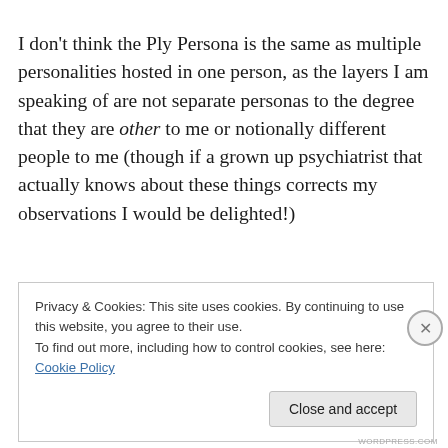I don't think the Ply Persona is the same as multiple personalities hosted in one person, as the layers I am speaking of are not separate personas to the degree that they are other to me or notionally different people to me (though if a grown up psychiatrist that actually knows about these things corrects my observations I would be delighted!)
Privacy & Cookies: This site uses cookies. By continuing to use this website, you agree to their use.
To find out more, including how to control cookies, see here: Cookie Policy
Close and accept
WORDPRESS.COM